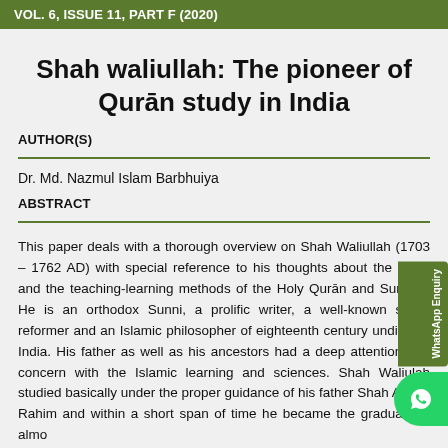VOL. 6, ISSUE 11, PART F (2020)
Shah waliullah: The pioneer of Qurān study in India
AUTHOR(S)
Dr. Md. Nazmul Islam Barbhuiya
ABSTRACT
This paper deals with a thorough overview on Shah Waliullah (1703 – 1762 AD) with special reference to his thoughts about the study and the teaching-learning methods of the Holy Qurān and Sunnah. He is an orthodox Sunni, a prolific writer, a well-known social reformer and an Islamic philosopher of eighteenth century undivided India. His father as well as his ancestors had a deep attention and concern with the Islamic learning and sciences. Shah Waliulah studied basically under the proper guidance of his father Shah Abdul Rahim and within a short span of time he became the graduate in almost fundamental subjects necessary for Islamic learning. After the sad demise of his father in 1719, he started to teach in Rahimiya College, known as Madrasa al-Raḥīmiya, of Delhi founded by his father. Unlike others, he changed the ongoing method(s) and designed a new curriculum and teaching methodology for Islamic sciences. He deserves in his writing the credit of a good number of important books in Arabic and Persian most of which have been translated and further interpreted into Arabic, English and Urdu languages.